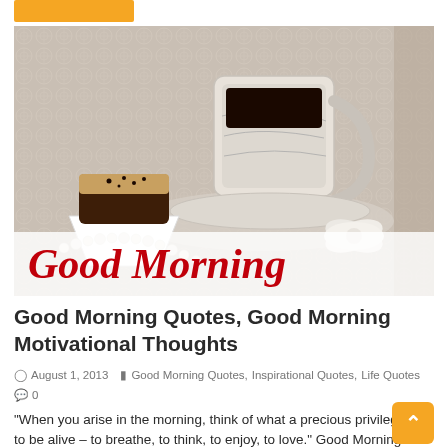[Figure (photo): A decorative photo showing a white porcelain coffee cup filled with black coffee, a chocolate truffle in a white paper cup, and a pearl necklace arranged on a lace surface, with 'Good Morning' text overlay in red italic font on a semi-transparent white band.]
Good Morning Quotes, Good Morning Motivational Thoughts
August 1, 2013  Good Morning Quotes, Inspirational Quotes, Life Quotes
0
“When you arise in the morning, think of what a precious privilege it is to be alive – to breathe, to think, to enjoy, to love.” Good Morning